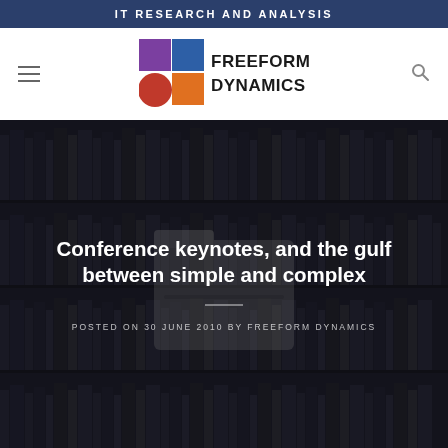IT RESEARCH AND ANALYSIS
[Figure (logo): Freeform Dynamics logo with coloured geometric squares and circles (purple, blue, red, orange) and bold text FREEFORM DYNAMICS]
[Figure (photo): Dark bookshelf background image with semi-transparent overlay, containing a faded folder icon in the center]
Conference keynotes, and the gulf between simple and complex
POSTED ON 30 JUNE 2010 BY FREEFORM DYNAMICS